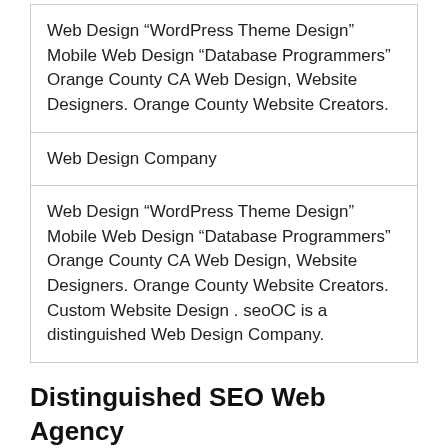| Web Design “WordPress Theme Design” Mobile Web Design “Database Programmers” Orange County CA Web Design, Website Designers. Orange County Website Creators. |
| Web Design Company |
| Web Design “WordPress Theme Design” Mobile Web Design “Database Programmers” Orange County CA Web Design, Website Designers. Orange County Website Creators. Custom Website Design . seoOC is a distinguished Web Design Company. |
Distinguished SEO Web Agency
Respectful Agency Marketing is SEO Orange County Top 10 SOCIAL MEDIA MARKETING